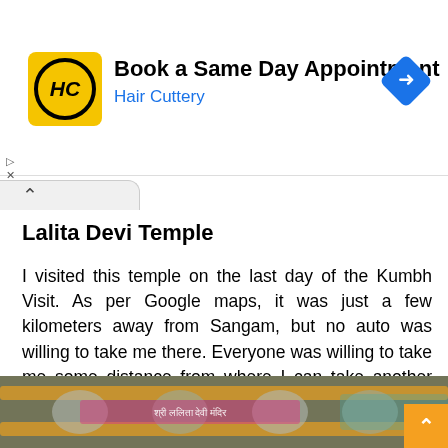[Figure (screenshot): Hair Cuttery advertisement banner with yellow logo showing HC in circle, text 'Book a Same Day Appointment' and 'Hair Cuttery' in blue, blue diamond arrow icon on right]
Lalita Devi Temple
I visited this temple on the last day of the Kumbh Visit. As per Google maps, it was just a few kilometers away from Sangam, but no auto was willing to take me there. Everyone was willing to take me some distance from where I can take another auto. I changed 5 autos or e-rickshaws to reach Lalita Devi Temple. The temple as you see now is fairly new with some signs of antiquity.
[Figure (photo): Photo of temple decorative metalwork with marigold flower garlands and text in Devanagari script]